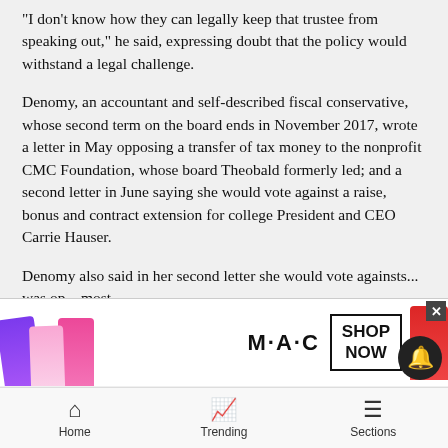“I don’t know how they can legally keep that trustee from speaking out,” he said, expressing doubt that the policy would withstand a legal challenge.
Denomy, an accountant and self-described fiscal conservative, whose second term on the board ends in November 2017, wrote a letter in May opposing a transfer of tax money to the nonprofit CMC Foundation, whose board Theobald formerly led; and a second letter in June saying she would vote against a raise, bonus and contract extension for college President and CEO Carrie Hauser.
Denomy also said in her second letter she would vote agains... was op... most-...
[Figure (photo): Advertisement overlay for MAC cosmetics featuring lipsticks in purple, light pink, and red colors with MAC logo and SHOP NOW button]
Home   Trending   Sections